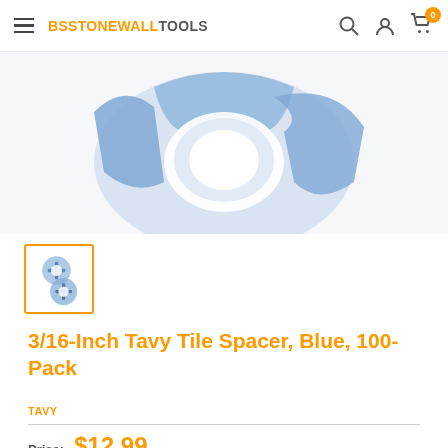BSTONEWALLTOOLS
[Figure (photo): Close-up product photo of a blue tile spacer, cross-shaped, shown from above against a white background.]
[Figure (photo): Thumbnail image of two blue cross-shaped tile spacers, shown in a small square with orange border.]
3/16-Inch Tavy Tile Spacer, Blue, 100-Pack
TAVY
Price: $12.99